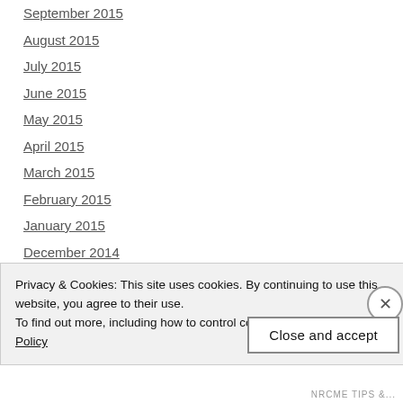September 2015
August 2015
July 2015
June 2015
May 2015
April 2015
March 2015
February 2015
January 2015
December 2014
November 2014
October 2014
September 2014
Privacy & Cookies: This site uses cookies. By continuing to use this website, you agree to their use.
To find out more, including how to control cookies, see here: Cookie Policy
Close and accept